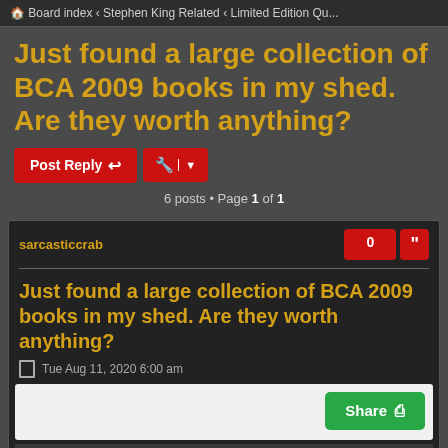Board index ‹ Stephen King Related ‹ Limited Edition Qu...
Just found a large collection of BCA 2009 books in my shed. Are they worth anything?
6 posts • Page 1 of 1
sarcasticcrab
Just found a large collection of BCA 2009 books in my shed. Are they worth anything?
Tue Aug 11, 2020 6:00 am